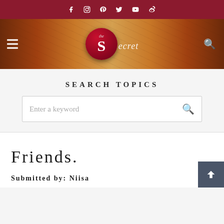Social media icons bar (Facebook, Instagram, Pinterest, Twitter, YouTube, Weibo)
[Figure (logo): The Secret website logo banner with dark red background, hamburger menu icon on left, circular red logo with cursive 'Secret' text, and search icon on right]
Search Topics
Enter a keyword
Friends.
Submitted by: Niisa